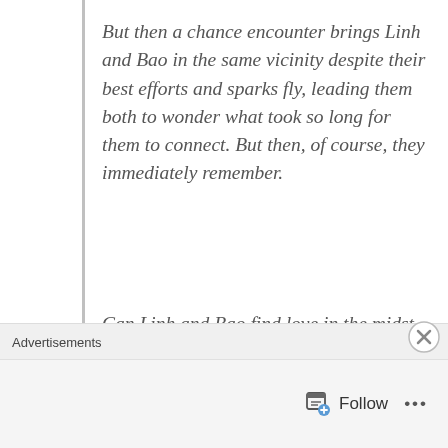But then a chance encounter brings Linh and Bao in the same vicinity despite their best efforts and sparks fly, leading them both to wonder what took so long for them to connect. But then, of course, they immediately remember.
Can Linh and Bao find love in the midst of feuding families and complicated histories?
When Dimple Met Rishi meets Ugly Delicious in this for...
Advertisements